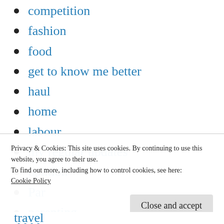competition
fashion
food
get to know me better
haul
home
labour
my regular updates
opinion
Par
parenting
Privacy & Cookies: This site uses cookies. By continuing to use this website, you agree to their use.
To find out more, including how to control cookies, see here:
Cookie Policy
travel